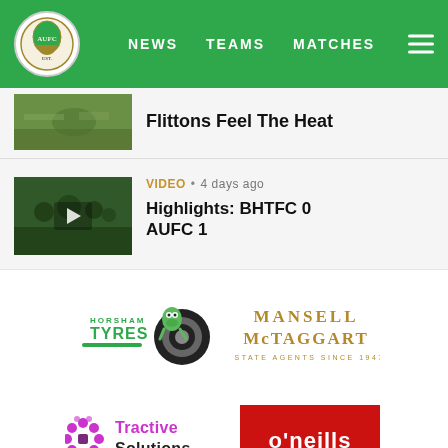NEWS  TEAMS  MATCHES
[Figure (screenshot): Partially visible news article thumbnail with cut-off headline text]
VIDEO • 4 days ago
[Figure (photo): Video thumbnail showing football/soccer players on a pitch]
Highlights: BHTFC 0 AUFC 1
[Figure (logo): Horsham Tyres logo with green tyre mascot]
[Figure (logo): Mansell McTaggart Estate Agents Since 1947 logo in gold text]
[Figure (logo): Tractive Solutions logo with purple/pink floral design]
[Figure (logo): O'Neills logo white text on red background]